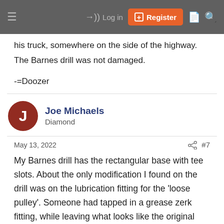Log in | Register
his truck, somewhere on the side of the highway.
The Barnes drill was not damaged.

-=Doozer
Joe Michaels
Diamond
May 13, 2022  #7
My Barnes drill has the rectangular base with tee slots. About the only modification I found on the drill was on the lubrication fitting for the 'loose pulley'. Someone had tapped in a grease zerk fitting, while leaving what looks like the original lubrication fitting in place. The shape of the brace carrying the outboard top shaft bearing and